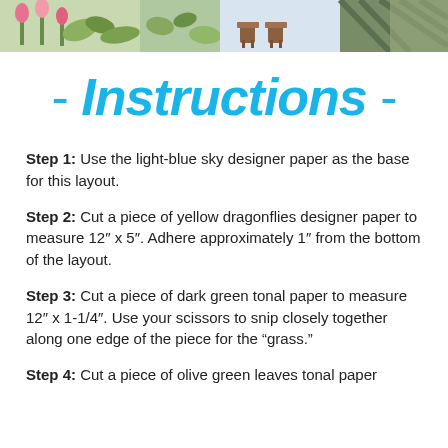[Figure (photo): Header strip showing crafting/scrapbooking themed images: tulips, fabric patterns, outdoor chairs, and patterned paper.]
- Instructions -
Step 1: Use the light-blue sky designer paper as the base for this layout.
Step 2: Cut a piece of yellow dragonflies designer paper to measure 12″ x 5″. Adhere approximately 1″ from the bottom of the layout.
Step 3: Cut a piece of dark green tonal paper to measure 12″ x 1-1/4″. Use your scissors to snip closely together along one edge of the piece for the “grass.”
Step 4: Cut a piece of olive green leaves tonal paper